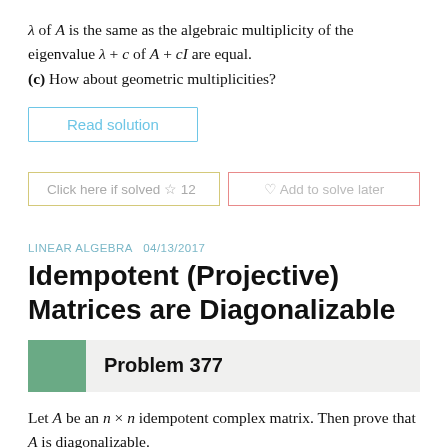λ of A is the same as the algebraic multiplicity of the eigenvalue λ + c of A + cI are equal.
(c) How about geometric multiplicities?
Read solution
Click here if solved ☆ 12   ♡ Add to solve later
LINEAR ALGEBRA  04/13/2017
Idempotent (Projective) Matrices are Diagonalizable
Problem 377
Let A be an n × n idempotent complex matrix. Then prove that A is diagonalizable.